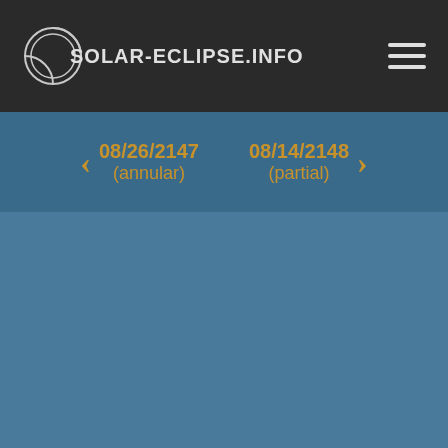SOLAR-ECLIPSE.INFO
< 08/26/2147 (annular)   08/14/2148 (partial) >